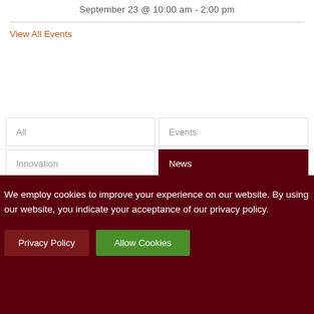September 23 @ 10:00 am - 2:00 pm
View All Events
All
Events
Innovation
News
[Figure (photo): Partial view of a light-colored surface or document, with blurred background elements]
We employ cookies to improve your experience on our website. By using our website, you indicate your acceptance of our privacy policy.
Privacy Policy
Allow Cookies